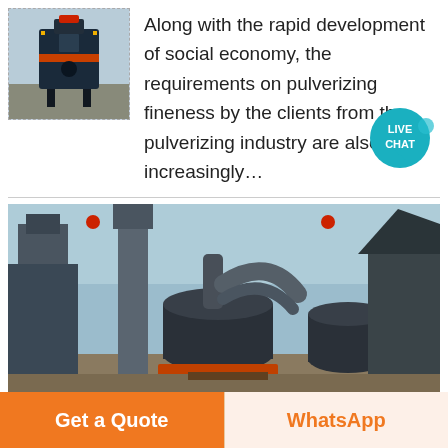[Figure (photo): Thumbnail image of industrial pulverizing machine in a warehouse/factory setting with blue tones]
Along with the rapid development of social economy, the requirements on pulverizing fineness by the clients from the pulverizing industry are also increasingly...
[Figure (photo): Industrial grinding/pulverizing plant outdoor photo showing large cylindrical mill machines with pipes and ducts, dark industrial buildings in background, blue sky]
Get a Quote
WhatsApp